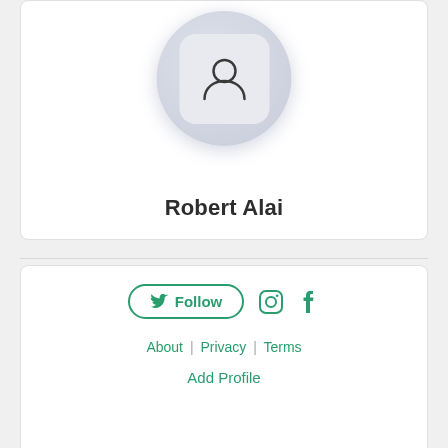[Figure (illustration): User profile avatar: a generic person silhouette icon inside a rounded square, set within a large circular background with soft blue-grey gradient]
Robert Alai
[Figure (infographic): Social buttons row: a Follow button (Twitter bird icon + Follow label, outlined in teal), an Instagram icon, and a Facebook icon]
About | Privacy | Terms
Add Profile